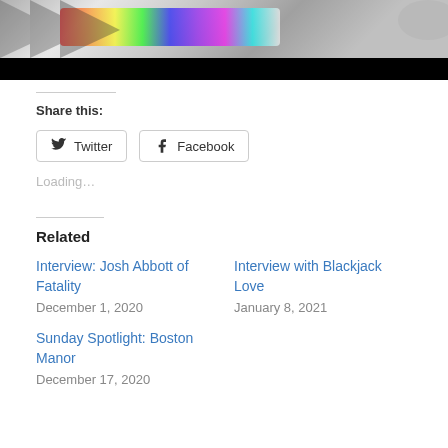[Figure (photo): Top portion of a page showing a colorful iridescent/holographic image at the top with a black bar below it]
Share this:
Twitter  Facebook
Loading…
Related
Interview: Josh Abbott of Fatality
December 1, 2020
Interview with Blackjack Love
January 8, 2021
Sunday Spotlight: Boston Manor
December 17, 2020